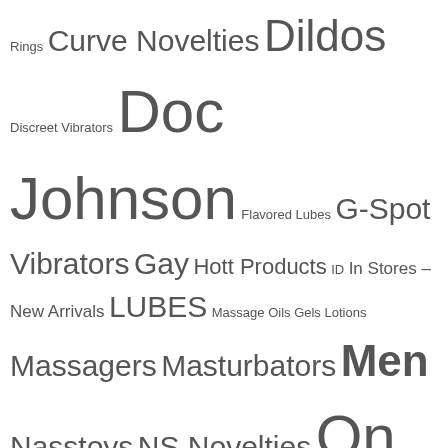Rings Curve Novelties Dildos Discreet Vibrators Doc Johnson Flavored Lubes G-Spot Vibrators Gay Hott Products ID In Stores – New Arrivals LUBES Massage Oils Gels Lotions Massagers Masturbators Men Nasstoys NS Novelties On Sale Penis Extensions Penis Strokers Pipedream Rabbit Vibrators Realistic Dildos Realistic Vibrators Dildos Sex Enhancers Shop By Brand Silicone Vibrators Stimulators Stimulators Strap On's SVAKOM Vibrators Water Lubricants Women Women Sexy Clothing XR Brands
My Tweets
[Figure (screenshot): Embedded Twitter widget showing tweets from @AdultWarehouseO with a Follow button. A tweet from AdultWarehou... @AdultWar... · Mar 8 with text 'At Adult Warehouse Outlet, we always find' is shown.]